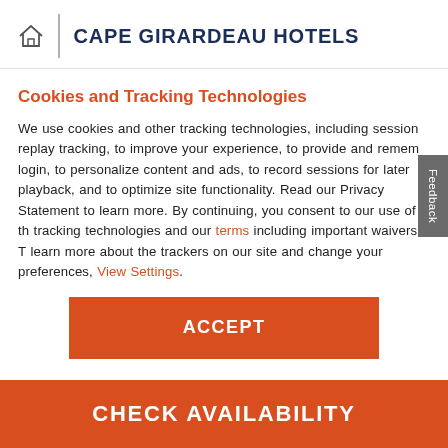CAPE GIRARDEAU HOTELS
Cookies and Tracking Technologies
We use cookies and other tracking technologies, including session replay tracking, to improve your experience, to provide and remember login, to personalize content and ads, to record sessions for later playback, and to optimize site functionality. Read our Privacy Statement to learn more. By continuing, you consent to our use of the tracking technologies and our terms including important waivers. To learn more about the trackers on our site and change your preferences, View Settings.
ACCEPT
CHECK AVAILABILITY